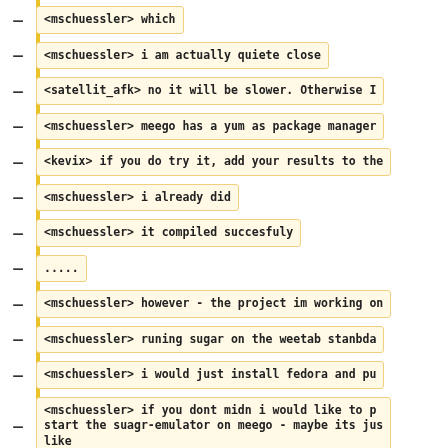<mschuessler> which
<mschuessler> i am actually quiete close
<satellit_afk> no it will be slower. Otherwise I
<mschuessler> meego has a yum as package manager
<kevix> if you do try it, add your results to the
<mschuessler> i already did
<mschuessler> it compiled succesfuly
.....
<mschuessler> however - the project im working on
<mschuessler> runing sugar on the weetab stanbda
<mschuessler> i would just install fedora and pu
<mschuessler> if you dont midn i would like to p start the suagr-emulator on meego - maybe its jus like